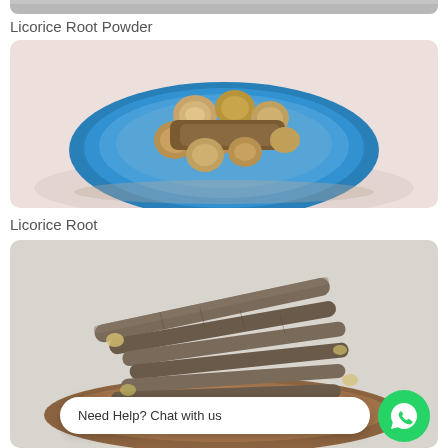[Figure (photo): Partial top of a product image, cropped at the top of the page]
Licorice Root Powder
[Figure (photo): Photo of dried licorice root pieces (cross-section cuts) piled on a blue ceramic plate, on a light pinkish background]
Licorice Root
[Figure (photo): Photo of dried licorice root sticks arranged on a wooden plate, on a light grey background. A WhatsApp chat button overlay reads 'Need Help? Chat with us']